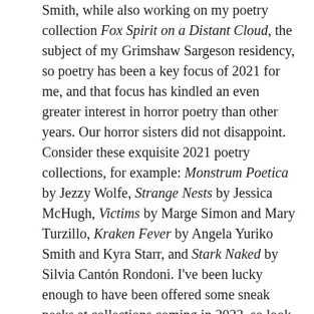Smith, while also working on my poetry collection Fox Spirit on a Distant Cloud, the subject of my Grimshaw Sargeson residency, so poetry has been a key focus of 2021 for me, and that focus has kindled an even greater interest in horror poetry than other years. Our horror sisters did not disappoint. Consider these exquisite 2021 poetry collections, for example: Monstrum Poetica by Jezzy Wolfe, Strange Nests by Jessica McHugh, Victims by Marge Simon and Mary Turzillo, Kraken Fever by Angela Yuriko Smith and Kyra Starr, and Stark Naked by Silvia Cantón Rondoni. I've been lucky enough to have been offered some sneak peeks at collections coming in 2022, so look out for Stephanie Ellis and Cindy O'Quinn's fabulous Foundlings, a tribute to master poets Linda D. Addison and Alessandro Manzetti, and EF Schraeder's gorgeously sordid Judy Garland is Not a Sunrise, also a tribute, this time to songstress Amy Winehouse. I'm delighted to appear in Black Spot Book's upcoming Under Her Skin (edited by Lindy Ryan and Toni Miller), a stunning collection of body horror poetry by some of the world's most acclaimed